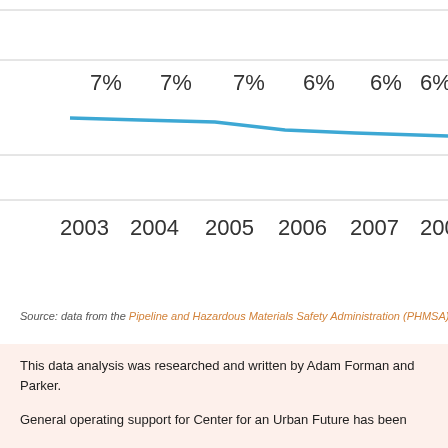[Figure (line-chart): Percentage trend over years]
Source: data from the Pipeline and Hazardous Materials Safety Administration (PHMSA)
This data analysis was researched and written by Adam Forman and Parker.
General operating support for Center for an Urban Future has been